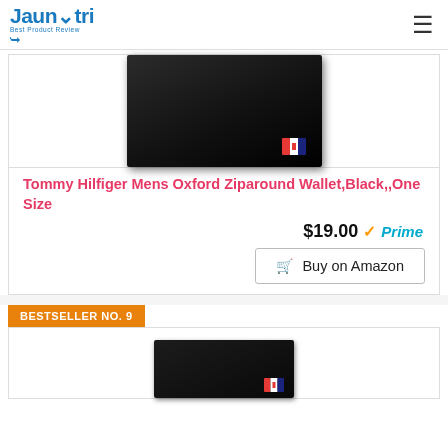Jaunatri — Best Product Review
[Figure (photo): Tommy Hilfiger black zip-around wallet product photo, top view showing leather exterior with Tommy Hilfiger logo badge]
Tommy Hilfiger Mens Oxford Ziparound Wallet,Black,,One Size
$19.00 Prime
Buy on Amazon
BESTSELLER NO. 9
[Figure (photo): Second product wallet photo, partially visible at bottom of page — Tommy Hilfiger wallet, black, bottom portion visible]